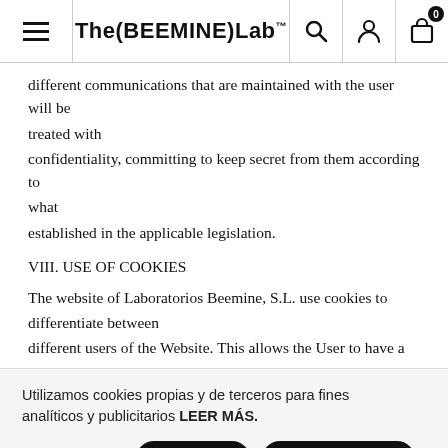The (BEEMINE) Lab
different communications that are maintained with the user will be treated with confidentiality, committing to keep secret from them according to what established in the applicable legislation.
VIII. USE OF COOKIES
The website of Laboratorios Beemine, S.L. use cookies to differentiate between different users of the Website. This allows the User to have a
Utilizamos cookies propias y de terceros para fines analíticos y publicitarios LEER MÁS. VER AJUSTES ACEPTAR ACEPTAR TODO RECHAZAR